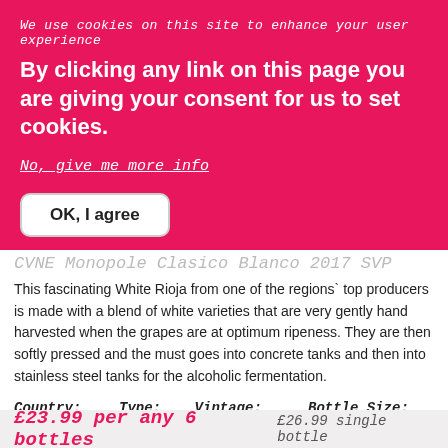We use cookies on this site to enhance your user experience
By clicking any link on this page you are giving your consent for us to set cookies.
No, give me more info
OK, I agree
CVNE Monopole Clasico Blanco 2017 SVP
This fascinating White Rioja from one of the regions` top producers is made with a blend of white varieties that are very gently hand harvested when the grapes are at optimum ripeness. They are then softly pressed and the must goes into concrete tanks and then into stainless steel tanks for the alcoholic fermentation.
| Country: | Type: | Vintage: | Bottle Size: |
| --- | --- | --- | --- |
| Spain | White | 2017 | 75cl |
£23.99 per any 6 bottles £26.99 single bottle